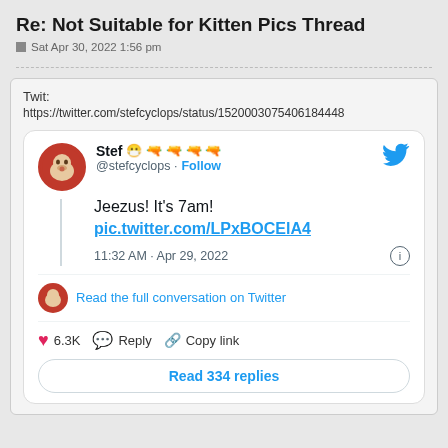Re: Not Suitable for Kitten Pics Thread
Sat Apr 30, 2022 1:56 pm
Twit:
https://twitter.com/stefcyclops/status/1520003075406184448
[Figure (screenshot): Embedded tweet from @stefcyclops showing: 'Jeezus! It’s 7am! pic.twitter.com/LPxBOCElA4' posted at 11:32 AM Apr 29, 2022, with 6.3K likes, Reply, Copy link, and Read 334 replies button.]